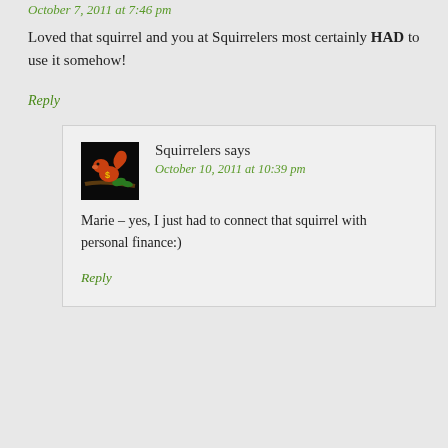October 7, 2011 at 7:46 pm
Loved that squirrel and you at Squirrelers most certainly HAD to use it somehow!
Reply
Squirrelers says
October 10, 2011 at 10:39 pm
Marie – yes, I just had to connect that squirrel with personal finance:)
Reply